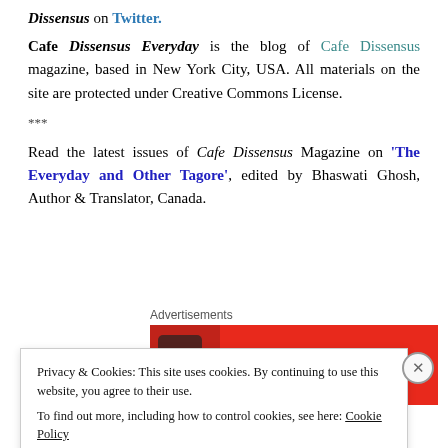Dissensus on Twitter.
Cafe Dissensus Everyday is the blog of Cafe Dissensus magazine, based in New York City, USA. All materials on the site are protected under Creative Commons License.
***
Read the latest issues of Cafe Dissensus Magazine on ‘The Everyday and Other Tagore’, edited by Bhaswati Ghosh, Author & Translator, Canada.
Advertisements
[Figure (other): Red advertisement banner showing 'An app by' text in white on red background with a partial phone image]
Privacy & Cookies: This site uses cookies. By continuing to use this website, you agree to their use.
To find out more, including how to control cookies, see here: Cookie Policy
Close and accept